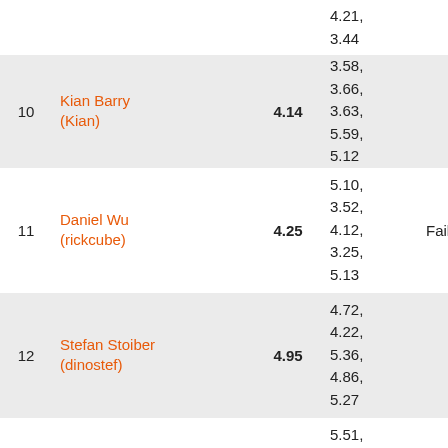| # | Name | Score | Details | Result |
| --- | --- | --- | --- | --- |
|  |  | 3.44 | 4.21, 3.44 |  |
| 10 | Kian Barry (Kian) | 4.14 | 3.58, 3.66, 3.63, 5.59, 5.12 |  |
| 11 | Daniel Wu (rickcube) | 4.25 | 5.10, 3.52, 4.12, 3.25, 5.13 | Fail |
| 12 | Stefan Stoiber (dinostef) | 4.95 | 4.72, 4.22, 5.36, 4.86, 5.27 |  |
| 13 | Chris Wall (MaeLSTRoM) | 4.99 | 5.51, 4.81, 4.03, 6.43, 4.66 |  |